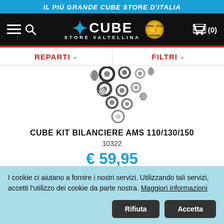IL PIÙ GRANDE CUBE STORE D'ITALIA
[Figure (screenshot): Cube Store Valtellina website navigation bar with hamburger menu, search icon, Cube logo, gold badge, and cart icon showing (0)]
REPARTI   FILTRI
[Figure (photo): Product photo showing assorted washers, spacers, and small bolts/nuts scattered on white background - Cube Kit Bilanciere AMS 110/130/150]
CUBE KIT BILANCIERE AMS 110/130/150
10322
€ 59,95
I cookie ci aiutano a fornire i nostri servizi. Utilizzando tali servizi, accetti l'utilizzo dei cookie da parte nostra. Maggiori informazioni